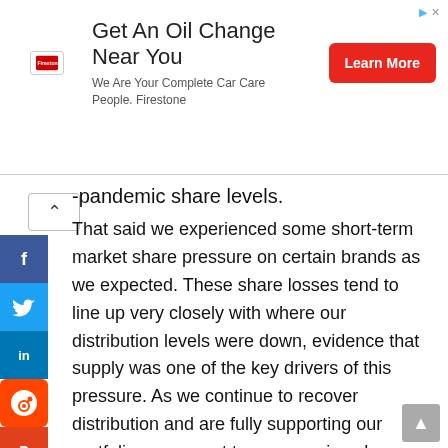[Figure (other): Advertisement banner: Firestone logo with text 'Get An Oil Change Near You', subtext 'We Are Your Complete Car Care People. Firestone', and a red 'Learn More' button]
-pandemic share levels.
That said we experienced some short-term market share pressure on certain brands as we expected. These share losses tend to line up very closely with where our distribution levels were down, evidence that supply was one of the key drivers of this pressure. As we continue to recover distribution and are fully supporting our portfolio, we expect to see ongoing share recovery. We are already seeing this recovery in Snacks in the most recent period. In the quarter, we also experienced some continued share pressure from private label, following their distribution recovery and